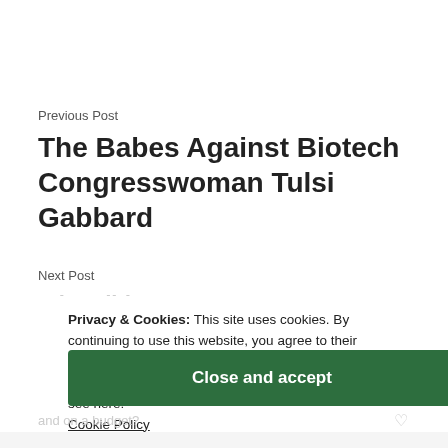Previous Post
The Babes Against Biotech Congresswoman Tulsi Gabbard
Next Post
What did you say???
Privacy & Cookies: This site uses cookies. By continuing to use this website, you agree to their use.
To find out more, including how to control cookies, see here:
Cookie Policy
Close and accept
and on a budget?